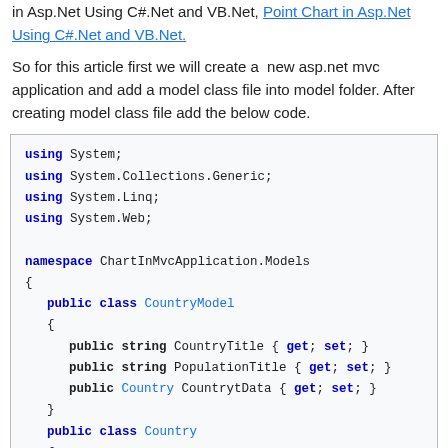in Asp.Net Using C#.Net and VB.Net, Point Chart in Asp.Net Using C#.Net and VB.Net.
So for this article first we will create a new asp.net mvc application and add a model class file into model folder. After creating model class file add the below code.
[Figure (screenshot): C# code block showing model class definitions: using statements, namespace ChartInMvcApplication.Models, public class CountryModel with CountryTitle, PopulationTitle, CountrytData properties, and public class Country opening brace.]